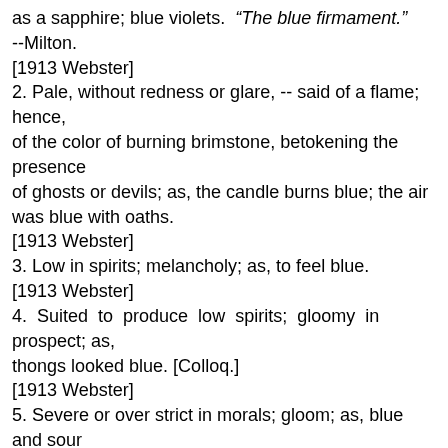as a sapphire; blue violets. "The blue firmament." --Milton.
[1913 Webster]
2. Pale, without redness or glare, -- said of a flame; hence,
of the color of burning brimstone, betokening the presence
of ghosts or devils; as, the candle burns blue; the air
was blue with oaths.
[1913 Webster]
3. Low in spirits; melancholy; as, to feel blue.
[1913 Webster]
4. Suited to produce low spirits; gloomy in prospect; as,
thongs looked blue. [Colloq.]
[1913 Webster]
5. Severe or over strict in morals; gloom; as, blue and sour
religionists; suiting one who is over strict in morals;
inculcating an impracticable, severe, or gloomy